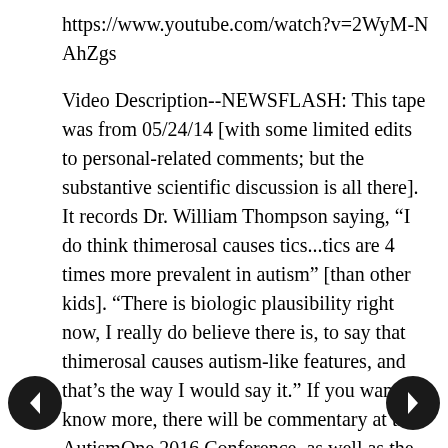https://www.youtube.com/watch?v=2WyM-NAhZgs
Video Description--NEWSFLASH: This tape was from 05/24/14 [with some limited edits to personal-related comments; but the substantive scientific discussion is all there]. It records Dr. William Thompson saying, “I do think thimerosal causes tics...tics are 4 times more prevalent in autism” [than other kids]. “There is biologic plausibility right now, I really do believe there is, to say that thimerosal causes autism-like features, and that’s the way I would say it.” If you want to know more, there will be commentary at the AutismOne 2016 Conference, as well as the movie VAXXED, Dr. Brian Hooker, and Dr. Andrew Wakefield. This audio posting is with the